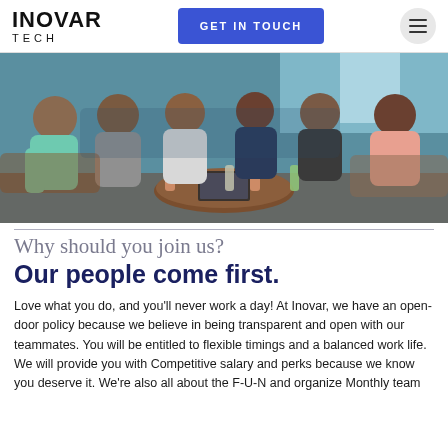INOVAR TECH | GET IN TOUCH | Menu
[Figure (photo): Group of six colleagues sitting together in a lounge/restaurant setting around a round table with drinks and a laptop, having a casual meeting.]
Why should you join us? Our people come first.
Love what you do, and you'll never work a day! At Inovar, we have an open-door policy because we believe in being transparent and open with our teammates. You will be entitled to flexible timings and a balanced work life. We will provide you with Competitive salary and perks because we know you deserve it. We're also all about the F-U-N and organize Monthly team